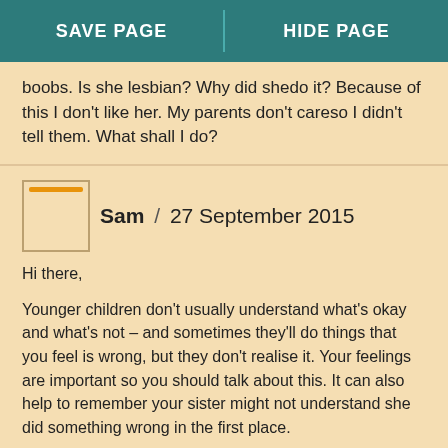SAVE PAGE | HIDE PAGE
boobs. Is she lesbian? Why did shedo it? Because of this I don't like her. My parents don't careso I didn't tell them. What shall I do?
Sam / 27 September 2015

Hi there,

Younger children don’t usually understand what’s okay and what’s not – and sometimes they’ll do things that you feel is wrong, but they don’t realise it. Your feelings are important so you should talk about this. It can also help to remember your sister might not understand she did something wrong in the first place.

Younger siblings look to older ones to learn how to behave. You could help her to learn by